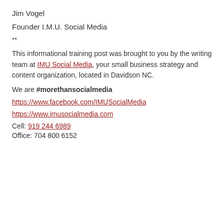Jim Vogel
Founder I.M.U. Social Media
**
This informational training post was brought to you by the writing team at IMU Social Media, your small business strategy and content organization, located in Davidson NC.
We are #morethansocialmedia
https://www.facebook.com/IMUSocialMedia
https://www.imusocialmedia.com
Cell: 919 244 6989
Office: 704 800 6152